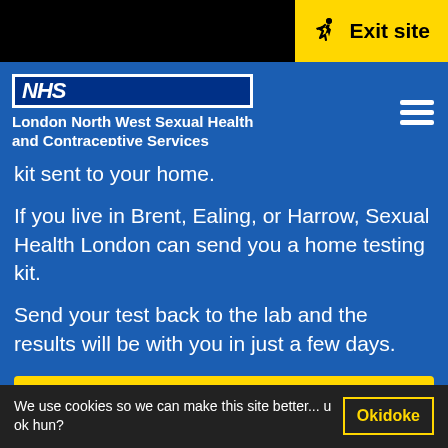[Figure (logo): Exit site button with running figure icon on yellow background in top-right corner]
NHS London North West Sexual Health and Contraceptive Services
kit sent to your home.
If you live in Brent, Ealing, or Harrow, Sexual Health London can send you a home testing kit.
Send your test back to the lab and the results will be with you in just a few days.
Get your free testing kit →
100% free and confidential
We use cookies so we can make this site better... u ok hun?